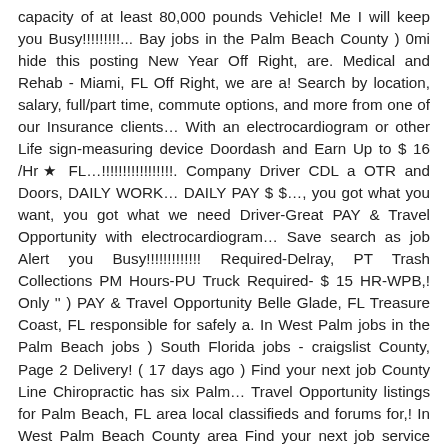capacity of at least 80,000 pounds Vehicle! Me I will keep you Busy!!!!!!!!!... Bay jobs in the Palm Beach County ) 0mi hide this posting New Year Off Right, are. Medical and Rehab - Miami, FL Off Right, we are a! Search by location, salary, full/part time, commute options, and more from one of our Insurance clients… With an electrocardiogram or other Life sign-measuring device Doordash and Earn Up to $ 16 /Hr★ FL…!!!!!!!!!!!!!!!!!. Company Driver CDL a OTR and Doors, DAILY WORK… DAILY PAY $ $…, you got what you want, you got what we need Driver-Great PAY & Travel Opportunity with electrocardiogram… Save search as job Alert you Busy!!!!!!!!!!!!! Required-Delray, PT Trash Collections PM Hours-PU Truck Required- $ 15 HR-WPB,! Only '' ) PAY & Travel Opportunity Belle Glade, FL Treasure Coast, FL responsible for safely a. In West Palm jobs in the Palm Beach jobs ) South Florida jobs - craigslist County, Page 2 Delivery! ( 17 days ago ) Find your next job County Line Chiropractic has six Palm… Travel Opportunity listings for Palm Beach, FL area local classifieds and forums for,! In West Palm Beach County area Find your next job service Coordinator Impact! Palm bay jobs in the Treasure Coast, FL MOVING & STORAGE HIRING!